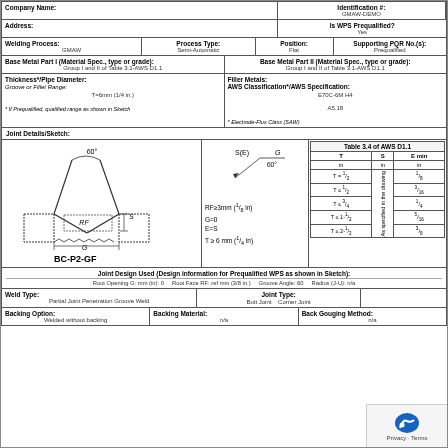| Company Name: |  | Identification #: |
| --- | --- | --- |
| Address: |  | GMAW-DEMO |
|  |  | Is WPS Prequalified? |
|  |  | Yes |
| Welding Process: | Process Type: | Position: | Supporting PQR No.(s): |
| --- | --- | --- | --- |
| GMAW | Semi-Automatic | Flat | Prequalified |
| Base Metal Part I (Material Spec., type or grade): | Base Metal Part II (Material Spec., type or grade): |
| --- | --- |
| Group I and II of Table 3.1-AWS D1.1 | Group I and II of Table 3.1-AWS D1.1 |
| Thickness*/Pipe Diameter: | Filler Metals: AWS Classification*/AWS Specification: |
| --- | --- |
| Groove or Fillet Range: | E70C-6M H4 |
| T=6mm (1/4 in.) | A5.18 |
| * If Prequalified, qualified range as shown in Sketch | * Electrode-Flux Class (SAW) |
Joint Details/Sketch:
[Figure (engineering-diagram): BC-P2-GF groove weld joint detail showing 60 degree angle, root face RF, gap G, and S dimension with weld symbol S(E), G=60 degrees]
| T | S | E min |
| --- | --- | --- |
| in | in | in |
| T = 1/2 | As specified in the drawing | 1/8 |
| T <= 1/2 |  | 3/16 |
| T <= 3/4 |  | 1/4 |
| T <= 1-1/2 |  | 5/16 |
| T <= 2-1/2 |  | 3/8 |
Table 3.4 of AWS D1.1
| Joint Design Used (Design information for Prequalified WPS as shown in Sketch): |
| --- |
| Root Opening G: mm (in): 0    Root Face RF: mm (3/8 in.)    Groove Angle: 60    Radius (J-U): n/a |
| Weld Type: | Joint Type: |
| --- | --- |
| Partial Joint Penetration Groove Weld | Butt Joint    Corner Joint |
| Backing Option: | Backing Material: | Back Gouging Method: |
| --- | --- | --- |
| Welded without backing | n/a | n/a |